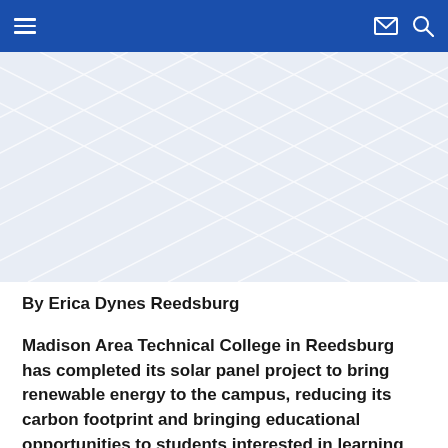[Figure (screenshot): Blue navigation bar with hamburger menu icon on left, envelope and search icons on right]
[Figure (illustration): Light blue-gray hero banner area with white diamond/rhombus grid pattern overlay]
By Erica Dynes Reedsburg
Madison Area Technical College in Reedsburg has completed its solar panel project to bring renewable energy to the campus, reducing its carbon footprint and bringing educational opportunities to students interested in learning